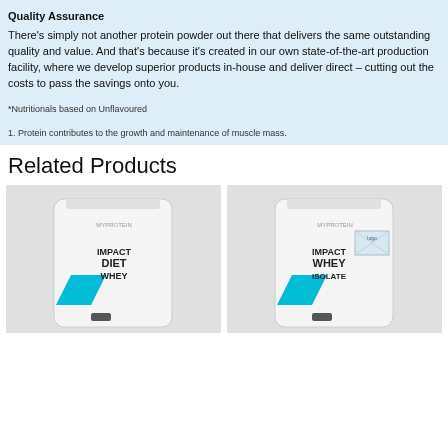Quality Assurance
There's simply not another protein powder out there that delivers the same outstanding quality and value. And that's because it's created in our own state-of-the-art production facility, where we develop superior products in-house and deliver direct – cutting out the costs to pass the savings onto you.
*Nutritionals based on Unflavoured
1. Protein contributes to the growth and maintenance of muscle mass.
Related Products
[Figure (photo): Product photo of Impact Diet Whey protein powder bag, white bag with teal accents and bold black text]
[Figure (photo): Product photo of Impact Whey Isolate protein powder bag, white bag with teal accents and bold black text, with a logo placeholder overlay]